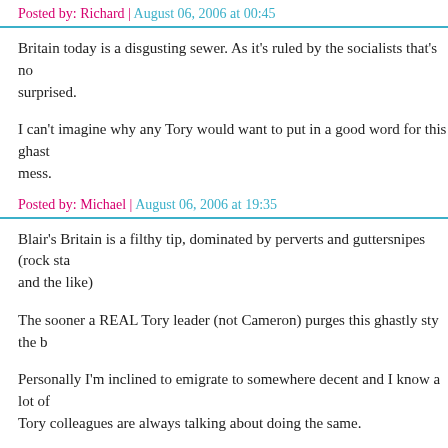Posted by: Richard | August 06, 2006 at 00:45
Britain today is a disgusting sewer. As it's ruled by the socialists that's no surprised.
I can't imagine why any Tory would want to put in a good word for this ghast mess.
Posted by: Michael | August 06, 2006 at 19:35
Blair's Britain is a filthy tip, dominated by perverts and guttersnipes (rock sta and the like)
The sooner a REAL Tory leader (not Cameron) purges this ghastly sty the b
Personally I'm inclined to emigrate to somewhere decent and I know a lot of Tory colleagues are always talking about doing the same.
Posted by: Michael | August 06, 2006 at 19:44
The comments to this entry are closed.